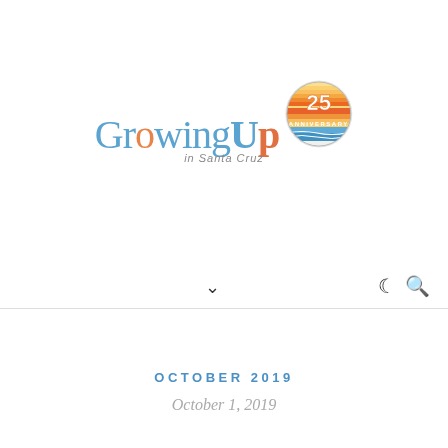[Figure (logo): Growing Up in Santa Cruz 25th Anniversary logo — stylized text 'GrowingUp in Santa Cruz' in blue and orange with a circular 25 Anniversary badge featuring a sunset/beach scene]
[Figure (other): Navigation bar UI elements: a downward chevron arrow in center, a crescent moon icon and magnifying glass search icon on the right]
OCTOBER 2019
October 1, 2019